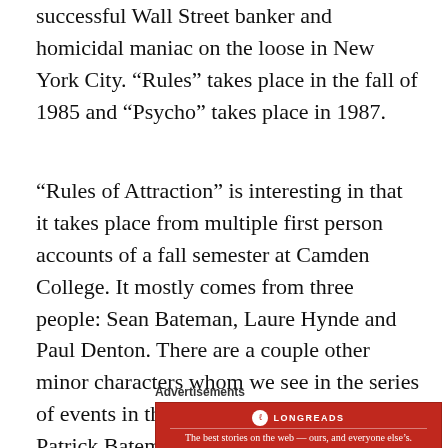successful Wall Street banker and homicidal maniac on the loose in New York City. “Rules” takes place in the fall of 1985 and “Psycho” takes place in 1987.
“Rules of Attraction” is interesting in that it takes place from multiple first person accounts of a fall semester at Camden College. It mostly comes from three people: Sean Bateman, Laure Hynde and Paul Denton. There are a couple other minor characters whom we see in the series of events in the books through (one being Patrick Bateman, but he shows none of the madness that is explicit in “Psycho.”).
Advertisements
[Figure (other): Longreads advertisement banner with red background, circular logo and tagline: The best stories on the web — ours, and everyone else’s.]